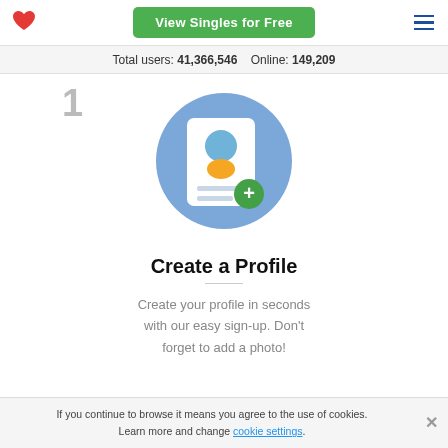View Singles for Free
Total users: 41,366,546   Online: 149,209
[Figure (illustration): Step 1 icon: blue circle with a profile/ID card illustration showing a person avatar, lines of text, and a green plus badge in bottom-right corner. Number '1' in gray to the left.]
Create a Profile
Create your profile in seconds with our easy sign-up. Don't forget to add a photo!
If you continue to browse it means you agree to the use of cookies. Learn more and change cookie settings.